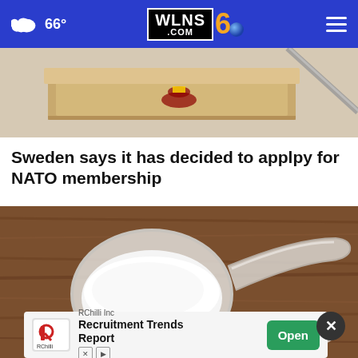66° WLNS6.COM
[Figure (photo): Top portion of an article image showing what appears to be a wooden box or podium with a Swedish crown emblem, with a diagonal metal bar visible on the right side against a light background.]
Sweden says it has decided to applpy for NATO membership
[Figure (photo): Close-up photo of a clear plastic measuring scoop filled with white powder (likely baby formula or similar substance) sitting on a rustic wooden table surface, with some spilled white powder beside it.]
RChilli Inc
Recruitment Trends Report
Open